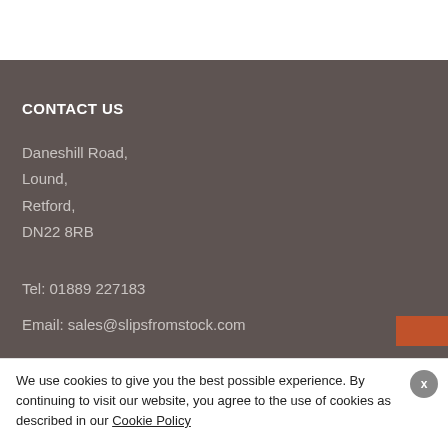CONTACT US
Daneshill Road,
Lound,
Retford,
DN22 8RB
Tel: 01889 227183
Email: sales@slipsfromstock.com
We use cookies to give you the best possible experience. By continuing to visit our website, you agree to the use of cookies as described in our Cookie Policy